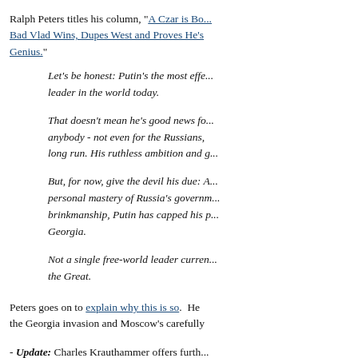Ralph Peters titles his column, "A Czar is Bo... Bad Vlad Wins, Dupes West and Proves He's Genius."
Let's be honest: Putin's the most effe... leader in the world today.
That doesn't mean he's good news fo... anybody - not even for the Russians, long run. His ruthless ambition and g...
But, for now, give the devil his due: A... personal mastery of Russia's governm... brinkmanship, Putin has capped his p... Georgia.
Not a single free-world leader curren... the Great.
Peters goes on to explain why this is so.  He the Georgia invasion and Moscow's carefully
- Update: Charles Krauthammer offers furth... President Bush: